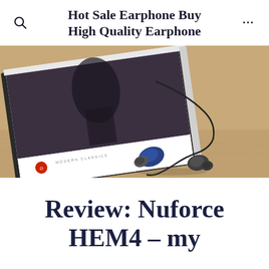Hot Sale Earphone Buy High Quality Earphone
[Figure (photo): Photo of blue in-ear earphones/earbuds with black cable resting on a wooden surface next to a book with a partially visible cover.]
Review: Nuforce HEM4 – my